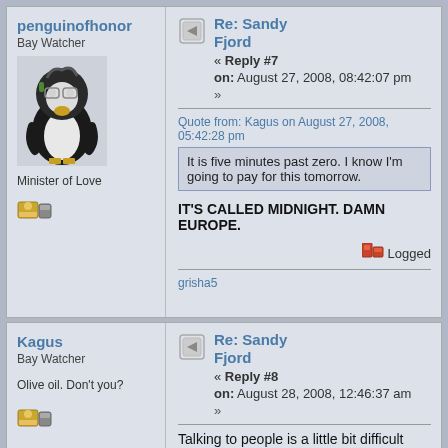penguinofhonor
Bay Watcher
[Figure (illustration): Avatar of penguinofhonor: a cartoon penguin character with dark feathers and glasses]
Minister of Love
[Figure (other): User icon/badge]
Re: Sandy Fjord
« Reply #7
on: August 27, 2008, 08:42:07 pm
»
Quote from: Kagus on August 27, 2008, 05:42:28 pm
It is five minutes past zero.  I know I'm going to pay for this tomorrow.
IT'S CALLED MIDNIGHT. DAMN EUROPE.
Logged
grisha5
Kagus
Bay Watcher
Olive oil. Don't you?
[Figure (other): User icon/badge]
Re: Sandy Fjord
« Reply #8
on: August 28, 2008, 12:46:37 am
»
Talking to people is a little bit difficult when you can't really